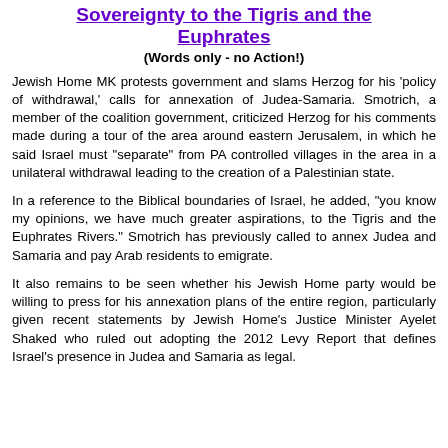Sovereignty to the Tigris and the Euphrates
(Words only - no Action!)
Jewish Home MK protests government and slams Herzog for his 'policy of withdrawal,' calls for annexation of Judea-Samaria. Smotrich, a member of the coalition government, criticized Herzog for his comments made during a tour of the area around eastern Jerusalem, in which he said Israel must "separate" from PA controlled villages in the area in a unilateral withdrawal leading to the creation of a Palestinian state.
In a reference to the Biblical boundaries of Israel, he added, "you know my opinions, we have much greater aspirations, to the Tigris and the Euphrates Rivers." Smotrich has previously called to annex Judea and Samaria and pay Arab residents to emigrate.
It also remains to be seen whether his Jewish Home party would be willing to press for his annexation plans of the entire region, particularly given recent statements by Jewish Home's Justice Minister Ayelet Shaked who ruled out adopting the 2012 Levy Report that defines Israel's presence in Judea and Samaria as legal.